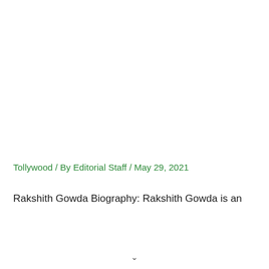Tollywood / By Editorial Staff / May 29, 2021
Rakshith Gowda Biography: Rakshith Gowda is an